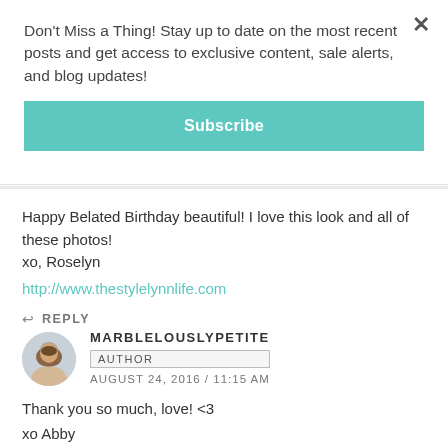Don't Miss a Thing! Stay up to date on the most recent posts and get access to exclusive content, sale alerts, and blog updates!
Subscribe
Happy Belated Birthday beautiful! I love this look and all of these photos!
xo, Roselyn
http://www.thestylelynnlife.com
REPLY
MARBLELOUSLYPETITE
AUTHOR
AUGUST 24, 2016 / 11:15 AM
Thank you so much, love! <3
xo Abby